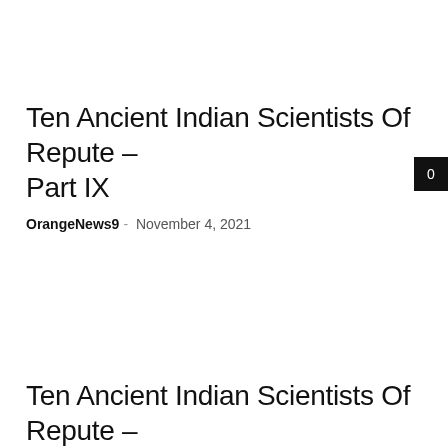Ten Ancient Indian Scientists Of Repute – Part IX
OrangeNews9 – November 4, 2021
Ten Ancient Indian Scientists Of Repute –